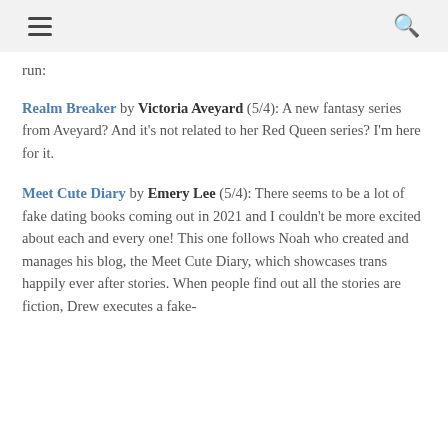[hamburger menu icon] [search icon]
run:
Realm Breaker by Victoria Aveyard (5/4): A new fantasy series from Aveyard? And it's not related to her Red Queen series? I'm here for it.
Meet Cute Diary by Emery Lee (5/4): There seems to be a lot of fake dating books coming out in 2021 and I couldn't be more excited about each and every one! This one follows Noah who created and manages his blog, the Meet Cute Diary, which showcases trans happily ever after stories. When people find out all the stories are fiction, Drew executes a fake-